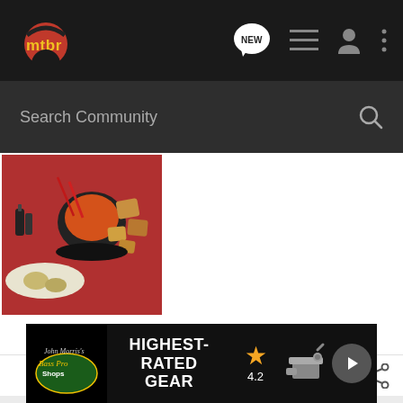mtbr - navigation bar with logo and icons
Search Community
[Figure (photo): Food photo showing fondue pot with broth/sauce, bread cubes, potatoes, and other dipping items on a red tablecloth]
[Figure (screenshot): Bookmark and share icons at the bottom of the content area]
[Figure (screenshot): Bass Pro Shops ad banner: HIGHEST-RATED GEAR, rating 4.2 stars, product image, play button]